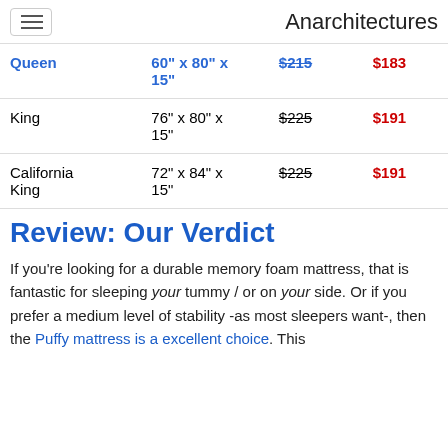Anarchitectures
| Size | Dimensions | Original Price | Sale Price |
| --- | --- | --- | --- |
| Queen | 60" x 80" x 15" | $215 | $183 |
| King | 76" x 80" x 15" | $225 | $191 |
| California King | 72" x 84" x 15" | $225 | $191 |
Review: Our Verdict
If you’re looking for a durable memory foam mattress, that is fantastic for sleeping your tummy / or on your side. Or if you prefer a medium level of stability -as most sleepers want-, then the Puffy mattress is a excellent choice. This